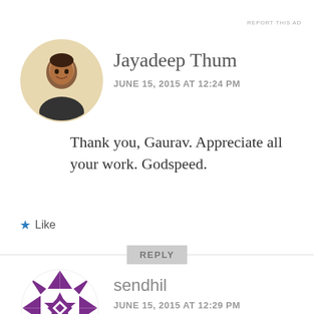REPORT THIS AD
[Figure (photo): Circular avatar photo of Jayadeep Thum, a man smiling, on a light beige background]
Jayadeep Thum
JUNE 15, 2015 AT 12:24 PM
Thank you, Gaurav. Appreciate all your work. Godspeed.
★ Like
REPLY
[Figure (logo): Circular geometric purple and white pattern avatar for sendhil]
sendhil
JUNE 15, 2015 AT 12:29 PM
Thanks.